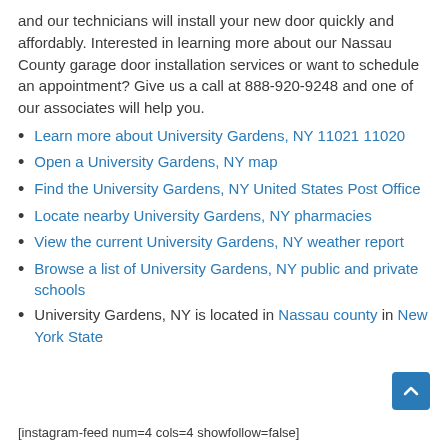and our technicians will install your new door quickly and affordably. Interested in learning more about our Nassau County garage door installation services or want to schedule an appointment? Give us a call at 888-920-9248 and one of our associates will help you.
Learn more about University Gardens, NY 11021 11020
Open a University Gardens, NY map
Find the University Gardens, NY United States Post Office
Locate nearby University Gardens, NY pharmacies
View the current University Gardens, NY weather report
Browse a list of University Gardens, NY public and private schools
University Gardens, NY is located in Nassau county in New York State
[instagram-feed num=4 cols=4 showfollow=false]